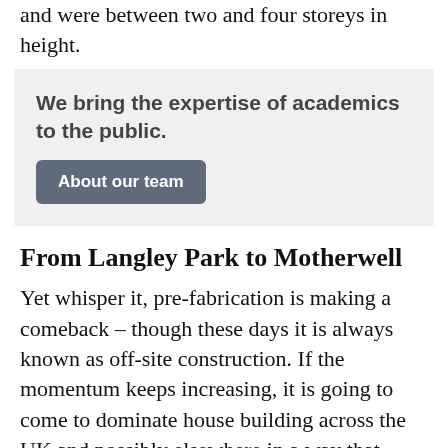and were between two and four storeys in height.
We bring the expertise of academics to the public.
About our team
From Langley Park to Motherwell
Yet whisper it, pre-fabrication is making a comeback – though these days it is always known as off-site construction. If the momentum keeps increasing, it is going to come to dominate house building across the UK and possibly elsewhere in a way that never happened in the 1950s and 1960s.
Scotland has been leading the way. Partly this is thanks to timber frame housing, which is much